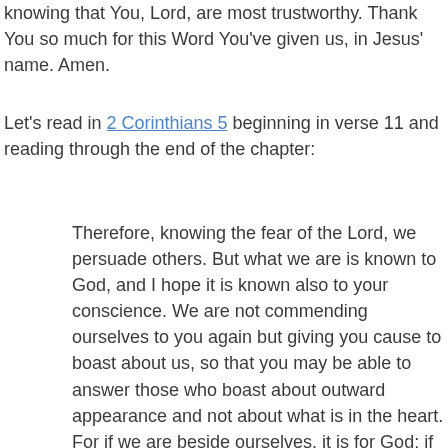knowing that You, Lord, are most trustworthy. Thank You so much for this Word You've given us, in Jesus' name. Amen.
Let's read in 2 Corinthians 5 beginning in verse 11 and reading through the end of the chapter:
Therefore, knowing the fear of the Lord, we persuade others. But what we are is known to God, and I hope it is known also to your conscience. We are not commending ourselves to you again but giving you cause to boast about us, so that you may be able to answer those who boast about outward appearance and not about what is in the heart. For if we are beside ourselves, it is for God; if we are in our right mind, it is for you. For the love of Christ controls us, because we have concluded this: that one has died for all, therefore all have